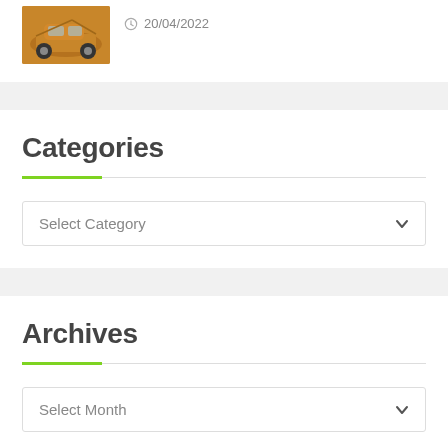[Figure (photo): Thumbnail image of an orange car with hood open, top-left corner]
20/04/2022
Categories
Select Category
Archives
Select Month